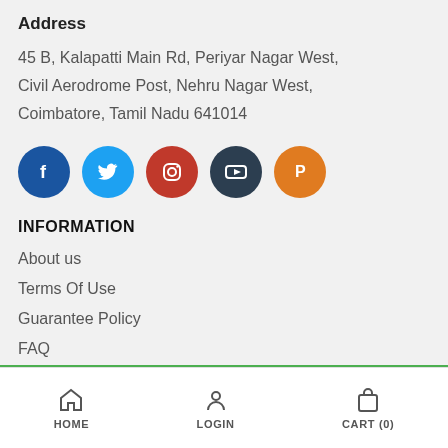Address
45 B, Kalapatti Main Rd, Periyar Nagar West, Civil Aerodrome Post, Nehru Nagar West, Coimbatore, Tamil Nadu 641014
[Figure (infographic): Five social media icon circles: Facebook (blue), Twitter (light blue), Instagram (red), YouTube (dark), Pinterest (orange)]
INFORMATION
About us
Terms Of Use
Guarantee Policy
FAQ
Shipping and Refunds
Privacy Policy
HOME   LOGIN   CART (0)